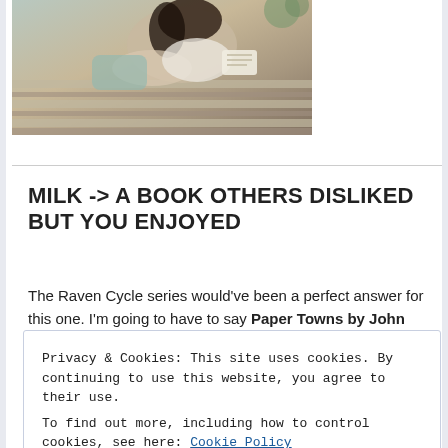[Figure (photo): A person with dark hair lying on a bed with striped blankets, reading or writing, wearing casual clothes, viewed from above/side angle.]
MILK -> A BOOK OTHERS DISLIKED BUT YOU ENJOYED
The Raven Cycle series would've been a perfect answer for this one. I'm going to have to say Paper Towns by John Green. It seems like it was a book
Privacy & Cookies: This site uses cookies. By continuing to use this website, you agree to their use.
To find out more, including how to control cookies, see here: Cookie Policy
Close and accept